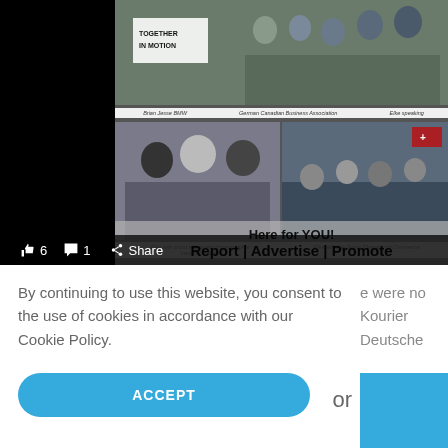[Figure (photo): Photo collage showing: top group photo with 'Together in Motion' sign, middle captions for Brian Jesse BMW, German Canadian Business Association, Elke speaking; bottom row shows Elke with world renowned choreographer Irene Schneider (left) and Elke with the Swiss Chamber of Commerce (right). Overlaid banner text: 'Here for YOU! Report | Advertise | Promote'. Reaction bar showing 6 likes, 1 comment, Share button.]
By continuing to use this website, you consent to the use of cookies in accordance with our Cookie Policy.
e were no Kourier Deutsche
or